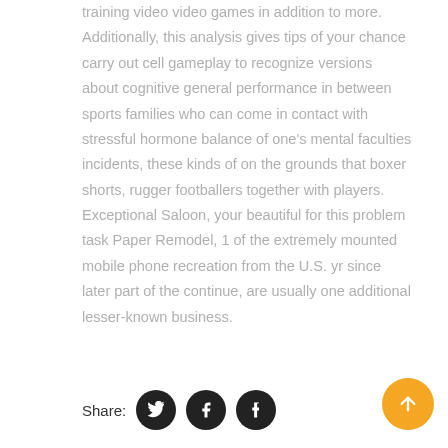training video video games in addition to more. Additionally, this analysis gives tips of your chance carry out cell gameplay to recognize versions about cognitive general performance in between sports families who can come in contact with stressful hormone balance of one's mental faculties incidents, these kinds of on the grounds that boxer shorts, rugger footballers together with players. Exceptional Saloon, your beautiful for this problem task Paper Remodel, 1 of the extremely mounted mobile phone recreation from the U.S. yr since later part of the continue, are usually one additional lesser-known business.
Share: